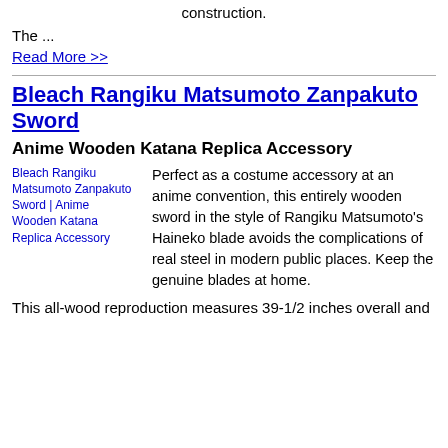construction.
The ...
Read More >>
Bleach Rangiku Matsumoto Zanpakuto Sword
Anime Wooden Katana Replica Accessory
[Figure (photo): Bleach Rangiku Matsumoto Zanpakuto Sword | Anime Wooden Katana Replica Accessory - broken image placeholder with alt text]
Perfect as a costume accessory at an anime convention, this entirely wooden sword in the style of Rangiku Matsumoto's Haineko blade avoids the complications of real steel in modern public places. Keep the genuine blades at home.
This all-wood reproduction measures 39-1/2 inches overall and